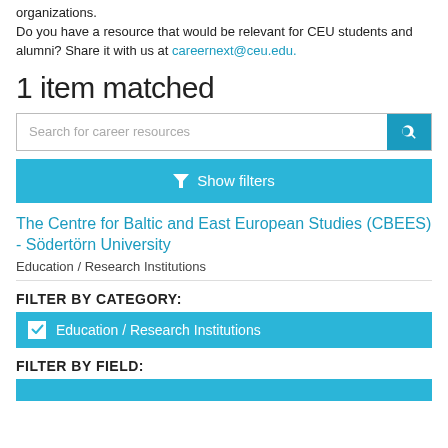organizations. Do you have a resource that would be relevant for CEU students and alumni? Share it with us at careernext@ceu.edu.
1 item matched
[Figure (screenshot): Search bar with placeholder text 'Search for career resources' and a teal search button with magnifying glass icon]
[Figure (screenshot): Teal 'Show filters' button with funnel icon]
The Centre for Baltic and East European Studies (CBEES) - Södertörn University
Education / Research Institutions
FILTER BY CATEGORY:
✓ Education / Research Institutions
FILTER BY FIELD: